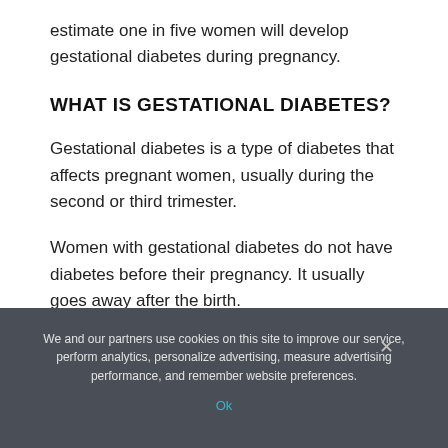estimate one in five women will develop gestational diabetes during pregnancy.
WHAT IS GESTATIONAL DIABETES?
Gestational diabetes is a type of diabetes that affects pregnant women, usually during the second or third trimester.
Women with gestational diabetes do not have diabetes before their pregnancy. It usually goes away after the birth.
We and our partners use cookies on this site to improve our service, perform analytics, personalize advertising, measure advertising performance, and remember website preferences.
Ok